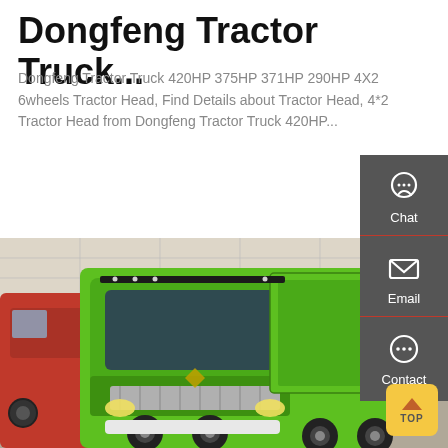Dongfeng Tractor Truck...
Dongfeng Tractor Truck 420HP 375HP 371HP 290HP 4X2 6wheels Tractor Head, Find Details about Tractor Head, 4*2 Tractor Head from Dongfeng Tractor Truck 420HP...
[Figure (screenshot): Green 'Get a Quote' button]
[Figure (photo): Photograph of a bright green Dongfeng dump truck at an indoor exhibition, with a red truck visible on the left side.]
[Figure (infographic): Sidebar with Chat, Email, and Contact icons on dark grey background with red dividers, and a yellow TOP button at bottom right]